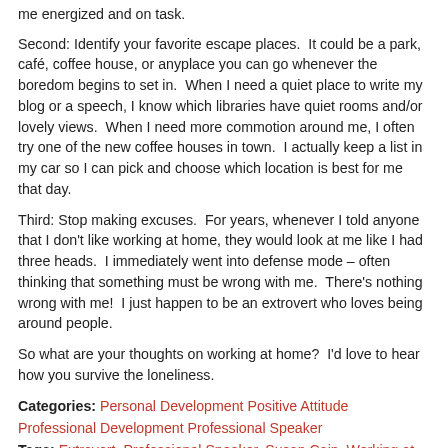me energized and on task.
Second: Identify your favorite escape places.  It could be a park, café, coffee house, or anyplace you can go whenever the boredom begins to set in.  When I need a quiet place to write my blog or a speech, I know which libraries have quiet rooms and/or lovely views.  When I need more commotion around me, I often try one of the new coffee houses in town.  I actually keep a list in my car so I can pick and choose which location is best for me that day.
Third: Stop making excuses.  For years, whenever I told anyone that I don't like working at home, they would look at me like I had three heads.  I immediately went into defense mode – often thinking that something must be wrong with me.  There's nothing wrong with me!  I just happen to be an extrovert who loves being around people.
So what are your thoughts on working at home?  I'd love to hear how you survive the loneliness.
Categories: Personal Development Positive Attitude Professional Development Professional Speaker
Tags: Extrovert, Professional Speaker, Susan Cain, Working at Home